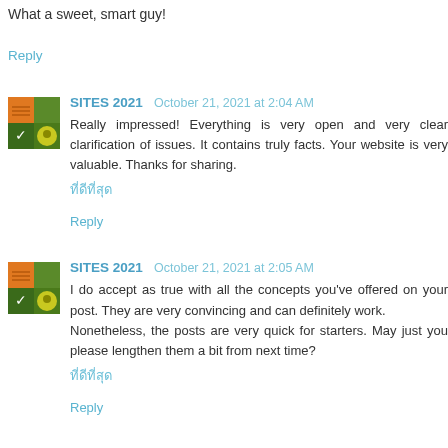What a sweet, smart guy!
Reply
SITES 2021  October 21, 2021 at 2:04 AM
Really impressed! Everything is very open and very clear clarification of issues. It contains truly facts. Your website is very valuable. Thanks for sharing.
ที่ดีที่สุด
Reply
SITES 2021  October 21, 2021 at 2:05 AM
I do accept as true with all the concepts you've offered on your post. They are very convincing and can definitely work.
Nonetheless, the posts are very quick for starters. May just you please lengthen them a bit from next time?
ที่ดีที่สุด
Reply